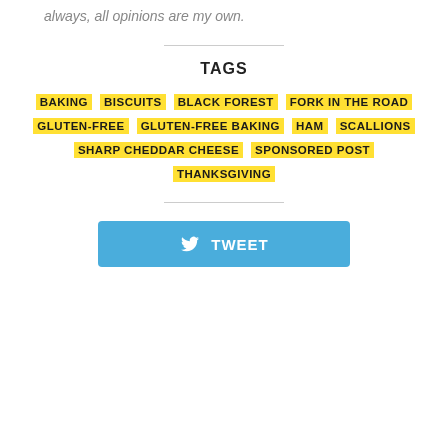always, all opinions are my own.
TAGS
BAKING
BISCUITS
BLACK FOREST
FORK IN THE ROAD
GLUTEN-FREE
GLUTEN-FREE BAKING
HAM
SCALLIONS
SHARP CHEDDAR CHEESE
SPONSORED POST
THANKSGIVING
TWEET